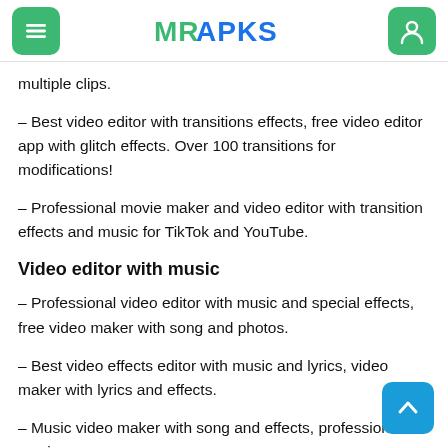MRAPKS
multiple clips.
– Best video editor with transitions effects, free video editor app with glitch effects. Over 100 transitions for modifications!
– Professional movie maker and video editor with transition effects and music for TikTok and YouTube.
Video editor with music
– Professional video editor with music and special effects, free video maker with song and photos.
– Best video effects editor with music and lyrics, video maker with lyrics and effects.
– Music video maker with song and effects, professional movie